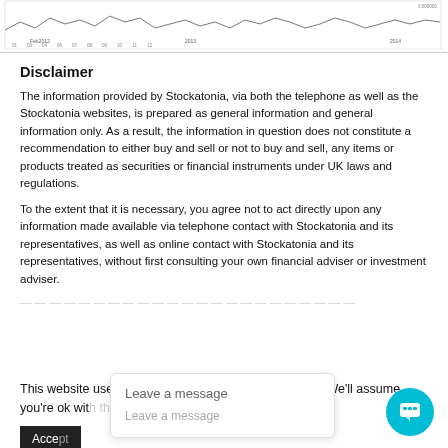[Figure (continuous-plot): Partial view of a financial line chart (stock price chart), cropped at top, showing a time axis with dates from 2012 to 2014 and a price axis on the right around 0.000000 range.]
Disclaimer
The information provided by Stockatonia, via both the telephone as well as the Stockatonia websites, is prepared as general information and general information only. As a result, the information in question does not constitute a recommendation to either buy and sell or not to buy and sell, any items or products treated as securities or financial instruments under UK laws and regulations.
To the extent that it is necessary, you agree not to act directly upon any information made available via telephone contact with Stockatonia and its representatives, as well as online contact with Stockatonia and its representatives, without first consulting your own financial adviser or investment adviser.
This website uses cookies to improve your experience. We'll assume you're ok with this, but you can opt-out if you wish.